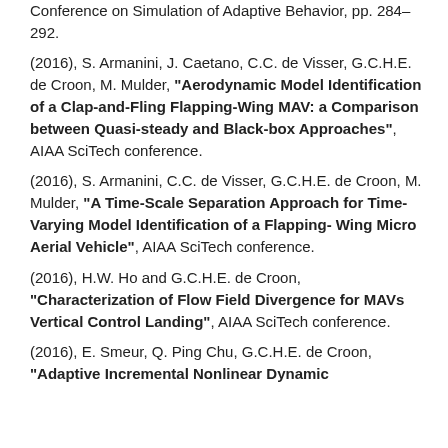Conference on Simulation of Adaptive Behavior, pp. 284–292.
(2016), S. Armanini, J. Caetano, C.C. de Visser, G.C.H.E. de Croon, M. Mulder, "Aerodynamic Model Identification of a Clap-and-Fling Flapping-Wing MAV: a Comparison between Quasi-steady and Black-box Approaches", AIAA SciTech conference.
(2016), S. Armanini, C.C. de Visser, G.C.H.E. de Croon, M. Mulder, "A Time-Scale Separation Approach for Time-Varying Model Identification of a Flapping-Wing Micro Aerial Vehicle", AIAA SciTech conference.
(2016), H.W. Ho and G.C.H.E. de Croon, "Characterization of Flow Field Divergence for MAVs Vertical Control Landing", AIAA SciTech conference.
(2016), E. Smeur, Q. Ping Chu, G.C.H.E. de Croon, "Adaptive Incremental Nonlinear Dynamic